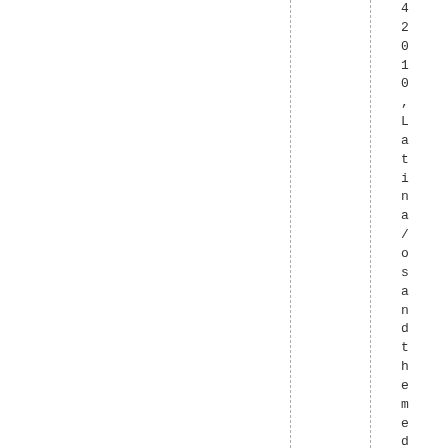4 2 0 1 0 , L a t i n a / o s a n d t h e m e d i a / A n g